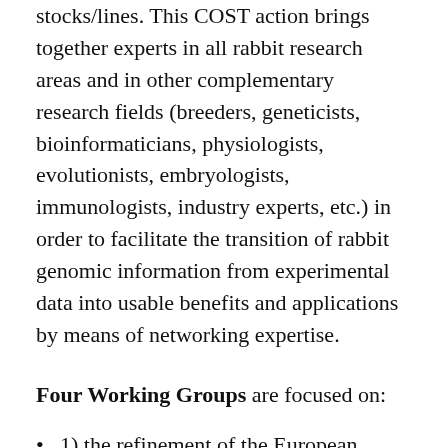stocks/lines. This COST action brings together experts in all rabbit research areas and in other complementary research fields (breeders, geneticists, bioinformaticians, physiologists, evolutionists, embryologists, immunologists, industry experts, etc.) in order to facilitate the transition of rabbit genomic information from experimental data into usable benefits and applications by means of networking expertise.
Four Working Groups are focused on:
1) the refinement of the European rabbit genome resource and the development of genome-based platforms
2) genetic aspects in meat, fur and pet rabbits and biodiversity resources